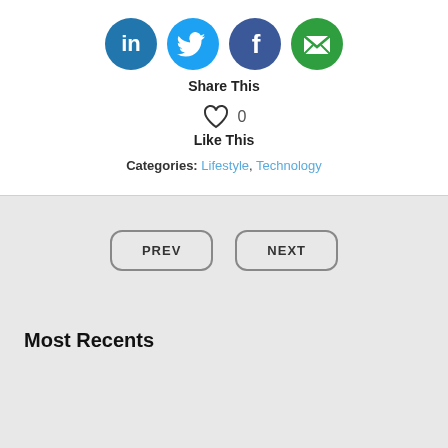[Figure (infographic): Four social media share icons: LinkedIn (blue circle with 'in'), Twitter (light blue circle with bird), Facebook (dark blue circle with 'f'), Email (green circle with envelope)]
Share This
[Figure (infographic): Heart icon (like button) with count 0]
Like This
Categories: Lifestyle, Technology
PREV
NEXT
Most Recents